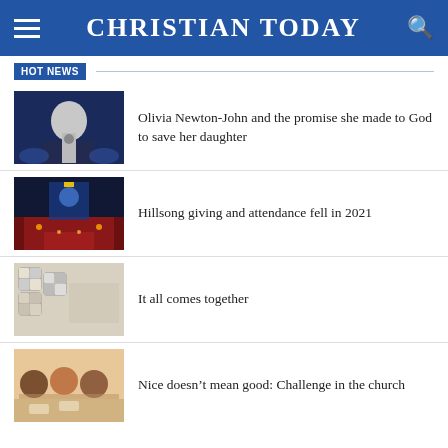CHRISTIAN TODAY
HOT NEWS
[Figure (photo): Woman with blonde hair singing into microphone on stage with blue lighting]
Olivia Newton-John and the promise she made to God to save her daughter
[Figure (photo): Large Hillsong church congregation concert with stage lights and crowd]
Hillsong giving and attendance fell in 2021
[Figure (photo): Jigsaw puzzle pieces close-up]
It all comes together
[Figure (photo): Group of people sitting at table in cafe or church setting]
Nice doesn’t mean good: Challenge in the church